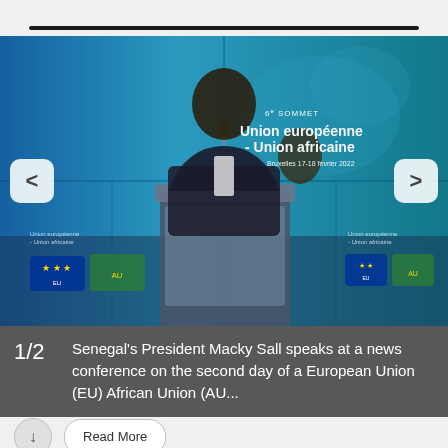[Figure (photo): Senegal's President Macky Sall speaking at a podium/lectern at a news conference during the 6th EU-AU Summit in Brussels, 17-18 February 2022. Background shows blue digital screens with summit branding 'Union européenne - Union africaine'. Navigation arrows (left/right) are overlaid on the image.]
1/2  Senegal's President Macky Sall speaks at a news conference on the second day of a European Union (EU) African Union (AU...